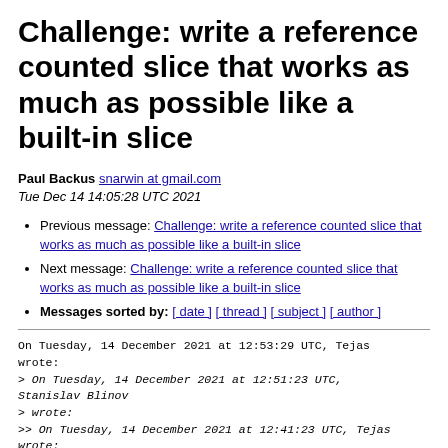Challenge: write a reference counted slice that works as much as possible like a built-in slice
Paul Backus snarwin at gmail.com
Tue Dec 14 14:05:28 UTC 2021
Previous message: Challenge: write a reference counted slice that works as much as possible like a built-in slice
Next message: Challenge: write a reference counted slice that works as much as possible like a built-in slice
Messages sorted by: [ date ] [ thread ] [ subject ] [ author ]
On Tuesday, 14 December 2021 at 12:53:29 UTC, Tejas wrote:
> On Tuesday, 14 December 2021 at 12:51:23 UTC, Stanislav Blinov
> wrote:
>> On Tuesday, 14 December 2021 at 12:41:23 UTC, Tejas wrote: